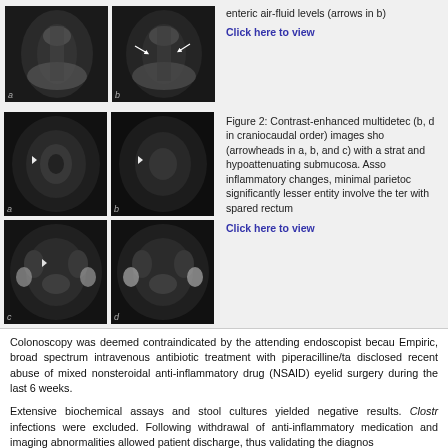[Figure (photo): Two abdominal X-ray images (a, b) showing enteric air-fluid levels (arrows in b)]
enteric air-fluid levels (arrows in b)
Click here to view
[Figure (photo): Four contrast-enhanced multidetector CT images (a, b in top row; c, d in bottom row) in craniocaudal order showing bowel wall thickening with arrowheads in a, b, and c, stratified enhancement, hypoattenuating submucosa, parietal inflammatory changes, minimal involvement, with spared rectum]
Figure 2: Contrast-enhanced multidetec (b, d in craniocaudal order) images sho (arrowheads in a, b, and c) with a strat and hypoattenuating submucosa. Asso inflammatory changes, minimal parietoc significantly lesser entity involve the ter with spared rectum
Click here to view
Colonoscopy was deemed contraindicated by the attending endoscopist becau Empiric, broad spectrum intravenous antibiotic treatment with piperacilline/ta disclosed recent abuse of mixed nonsteroidal anti-inflammatory drug (NSAID) eyelid surgery during the last 6 weeks.
Extensive biochemical assays and stool cultures yielded negative results. Clostr infections were excluded. Following withdrawal of anti-inflammatory medication and imaging abnormalities allowed patient discharge, thus validating the diagnos
In recent years, evidence is mounting that NSAID-related bowel injury is not site